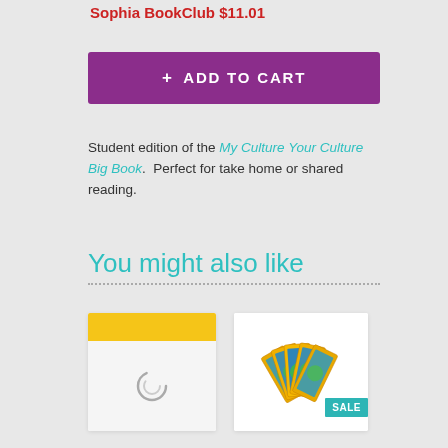Sophia BookClub $11.01
+ ADD TO CART
Student edition of the My Culture Your Culture Big Book.  Perfect for take home or shared reading.
You might also like
[Figure (illustration): Product card with yellow strip at top and loading/placeholder icon in center]
[Figure (illustration): Product card showing fan of book covers with SALE badge in teal]